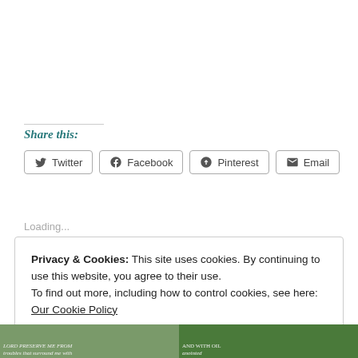Share this:
Twitter  Facebook  Pinterest  Email
Loading...
Privacy & Cookies: This site uses cookies. By continuing to use this website, you agree to their use.
To find out more, including how to control cookies, see here: Our Cookie Policy
Close and accept
[Figure (photo): Two image thumbnails at the bottom of the page — left shows text overlay on a greenish background, right shows a green leafy background with text.]